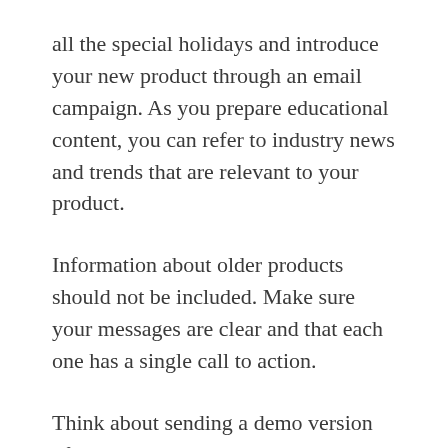all the special holidays and introduce your new product through an email campaign. As you prepare educational content, you can refer to industry news and trends that are relevant to your product.
Information about older products should not be included. Make sure your messages are clear and that each one has a single call to action.
Think about sending a demo version of your product or service to an influential person in your industry. It is possible to build long-term subscriber relationships with properly executed email marketing activities. If you want to reduce the cost of your campaigns, offer...